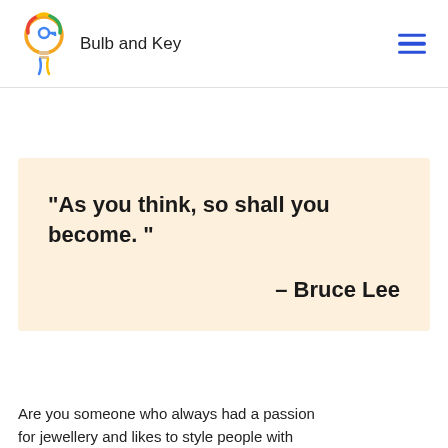Bulb and Key
"As you think, so shall you become. " – Bruce Lee
Are you someone who always had a passion for jewellery and likes to style people with